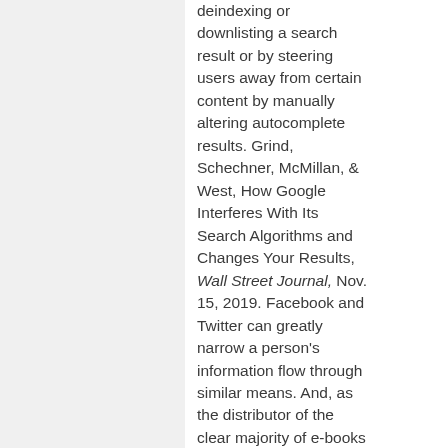deindexing or downlisting a search result or by steering users away from certain content by manually altering autocomplete results. Grind, Schechner, McMillan, & West, How Google Interferes With Its Search Algorithms and Changes Your Results, Wall Street Journal, Nov. 15, 2019. Facebook and Twitter can greatly narrow a person's information flow through similar means. And, as the distributor of the clear majority of e-books and